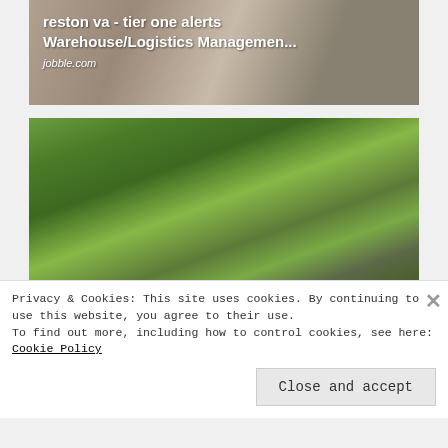[Figure (photo): Advertisement image for a warehouse/logistics job posting on jobble.com, showing a worker in a warehouse setting with text overlay]
reston va - tier one alerts Warehouse/Logistics Managemen...
jobble.com
[Figure (photo): Photo of a man and woman wearing sunglasses, standing outdoors with green trees and a house in the background]
Privacy & Cookies: This site uses cookies. By continuing to use this website, you agree to their use.
To find out more, including how to control cookies, see here: Cookie Policy
Close and accept